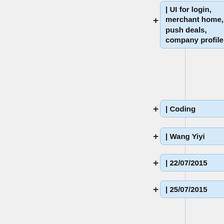| UI for login, merchant home, push deals, company profile
| Coding
| Wang Yiyi
| 22/07/2015
| 25/07/2015
|-
| UI for reservation, customer main page
| Coding
| Wang Yiyi
| 26/07/2015